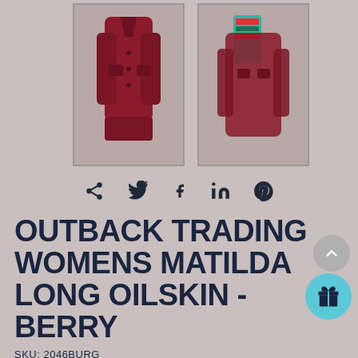[Figure (photo): Two product thumbnail images of a burgundy/berry long oilskin coat, one showing the coat laid flat and one showing a detail with a patterned garment]
[Figure (infographic): Social sharing icons: share, twitter, facebook, linkedin, pinterest]
OUTBACK TRADING WOMENS MATILDA LONG OILSKIN -BERRY
SKU: 2046BURG
$269.95